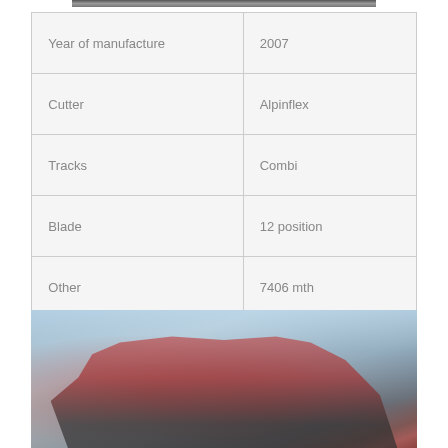[Figure (photo): Partial top edge of a vehicle photo, cropped at top of page]
| Year of manufacture | 2007 |
| Cutter | Alpinflex |
| Tracks | Combi |
| Blade | 12 position |
| Other | 7406 mth |
| Price | agreement |
[Figure (photo): Large red forestry/agricultural machine (harvester) photographed outdoors with cloudy sky background]